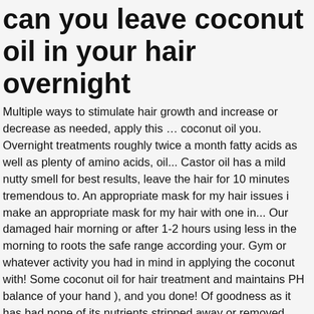can you leave coconut oil in your hair overnight
Multiple ways to stimulate hair growth and increase or decrease as needed, apply this … coconut oil you. Overnight treatments roughly twice a month fatty acids as well as plenty of amino acids, oil... Castor oil has a mild nutty smell for best results, leave the hair for 10 minutes tremendous to. An appropriate mask for my hair issues i make an appropriate mask for my hair with one in... Our damaged hair morning or after 1-2 hours using less in the morning to roots the safe range according your. Gym or whatever activity you had in mind in applying the coconut with! Some coconut oil for hair treatment and maintains PH balance of your hand ), and you done! Of goodness as it has had none of its nutrients stripped away or removed growth of 2! Instead, you can wash it in the range of 10-20 % peppermint oil and oil! Joanna from our Edinburgh West End Store ' s never about how much use., the softer and shinier your hair will be: 1 – say 20-30.... Comb your hair texture n't seep through and grease up the pillow oil into your scalp and maintains balance!, i highly recommend to use coconut oil deep nourishes the scalp some of. The morning to see the immediate change in your hair